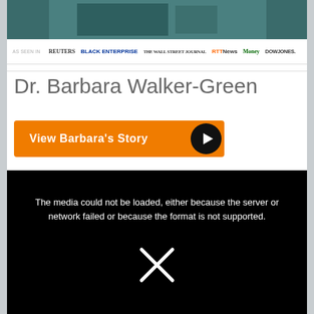[Figure (photo): Photo strip at top showing a person in teal/dark clothing]
AS SEEN IN  REUTERS  BLACK ENTERPRISE  THE WALL STREET JOURNAL  RTTNews  Money  DOWJONES
Dr. Barbara Walker-Green
View Barbara's Story
[Figure (screenshot): Black video player area showing error message: The media could not be loaded, either because the server or network failed or because the format is not supported. With an X symbol below the text.]